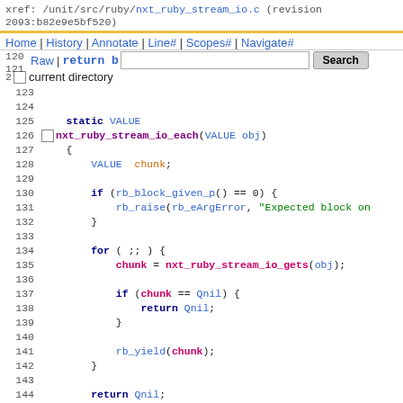xref: /unit/src/ruby/nxt_ruby_stream_io.c (revision 2093:b82e9e5bf520)
Home | History | Annotate | Line# | Scopes# | Navigate#
12Raw | Download | Search
2 current directory
[Figure (screenshot): Source code viewer showing C code for nxt_ruby_stream_io_each function, lines 120-145, with syntax highlighting]
125  static VALUE
126  nxt_ruby_stream_io_each(VALUE obj)
127  {
128      VALUE chunk;
129
130      if (rb_block_given_p() == 0) {
131          rb_raise(rb_eArgError, "Expected block on
132      }
133
134      for ( ;; ) {
135          chunk = nxt_ruby_stream_io_gets(obj);
136
137          if (chunk == Qnil) {
138              return Qnil;
139          }
140
141          rb_yield(chunk);
142      }
143
144      return Qnil;
145  }